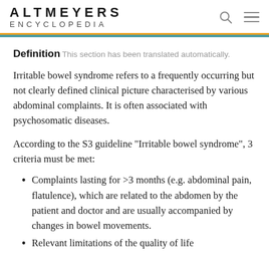ALTMEYERS ENCYCLOPEDIA
Definition This section has been translated automatically.
Irritable bowel syndrome refers to a frequently occurring but not clearly defined clinical picture characterised by various abdominal complaints. It is often associated with psychosomatic diseases.
According to the S3 guideline "Irritable bowel syndrome", 3 criteria must be met:
Complaints lasting for >3 months (e.g. abdominal pain, flatulence), which are related to the abdomen by the patient and doctor and are usually accompanied by changes in bowel movements.
Relevant limitations of the quality of life